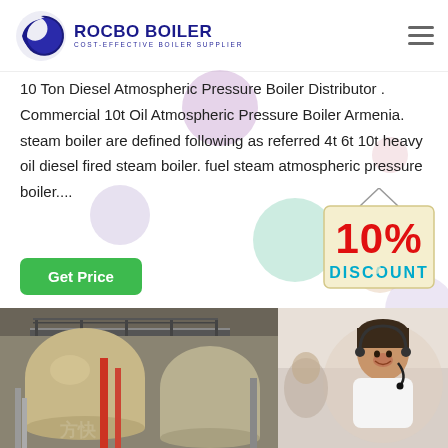[Figure (logo): Rocbo Boiler logo with crescent moon icon and text ROCBO BOILER, COST-EFFECTIVE BOILER SUPPLIER]
10 Ton Diesel Atmospheric Pressure Boiler Distributor . Commercial 10t Oil Atmospheric Pressure Boiler Armenia. steam boiler are defined following as referred 4t 6t 10t heavy oil diesel fired steam boiler. fuel steam atmospheric pressure boiler....
[Figure (infographic): 10% DISCOUNT promotional badge hanging sign]
[Figure (photo): Industrial boiler facility showing large cylindrical boilers with pipes and structural platforms]
[Figure (photo): Customer service representative wearing headset, smiling]